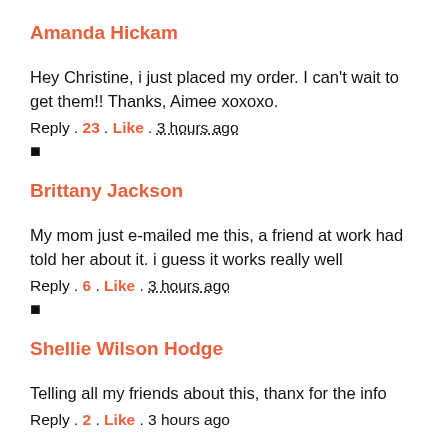Amanda Hickam
Hey Christine, i just placed my order. I can't wait to get them!! Thanks, Aimee xoxoxo.
Reply . 23 . Like . 3 hours ago
▪
Brittany Jackson
My mom just e-mailed me this, a friend at work had told her about it. i guess it works really well
Reply . 6 . Like . 3 hours ago
▪
Shellie Wilson Hodge
Telling all my friends about this, thanx for the info
Reply . 2 . Like . 3 hours ago